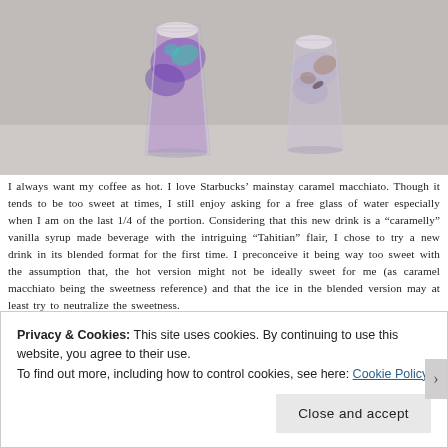[Figure (photo): Two colorful iced drinks in clear glasses on a light gray surface. Left glass has purple and teal/mint swirling colors. Right glass has lavender and brown swirling colors.]
I always want my coffee as hot. I love Starbucks' mainstay caramel macchiato. Though it tends to be too sweet at times, I still enjoy asking for a free glass of water especially when I am on the last 1/4 of the portion. Considering that this new drink is a “caramelly” vanilla syrup made beverage with the intriguing “Tahitian” flair, I chose to try a new drink in its blended format for the first time. I preconceive it being way too sweet with the assumption that, the hot version might not be ideally sweet for me (as caramel macchiato being the sweetness reference) and that the ice in the blended version may at least try to neutralize the sweetness.
Privacy & Cookies: This site uses cookies. By continuing to use this website, you agree to their use.
To find out more, including how to control cookies, see here: Cookie Policy